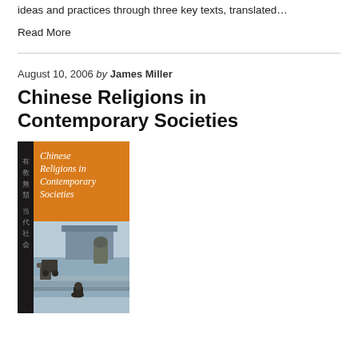ideas and practices through three key texts, translated…
Read More
August 10, 2006 by James Miller
Chinese Religions in Contemporary Societies
[Figure (photo): Book cover of 'Chinese Religions in Contemporary Societies' — orange upper half with title text in white, black spine strip with Chinese characters, lower half showing a photo of a snowy temple courtyard with a meditating figure, stone incense burners, and temple steps in misty blue tones.]